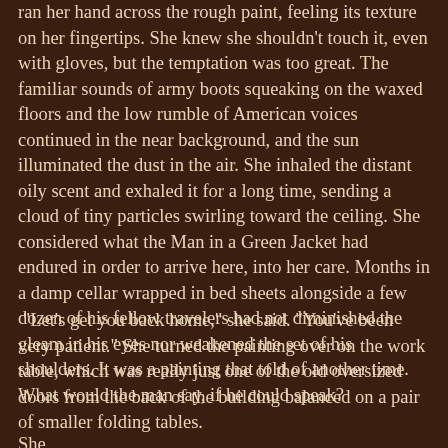ran her hand across the rough paint, feeling its texture on her fingertips. She knew she shouldn't touch it, even with gloves, but the temptation was too great. The familiar sounds of army boots squeaking on the waxed floors and the low rumble of American voices continued in the near background, and the sun illuminated the dust in the air. She inhaled the distant oily scent and exhaled it for a long time, sending a cloud of tiny particles swirling toward the ceiling. She considered what the Man in a Green Jacket had endured in order to arrive here, into her care. Months in a damp cellar wrapped in bed sheets alongside a few dozen of his fellow travelers had not diminished the gleam in his eyes nor weakened the set of his shoulders. It was a painting that told of another time. What would the man say, if he could speak?
“Let's get you back home,” she said. “You've been very patient.” She turned the painting over on the work table, which was really just one of the old oversized doors from the back of the building balanced on a pair of smaller folding tables.
She…